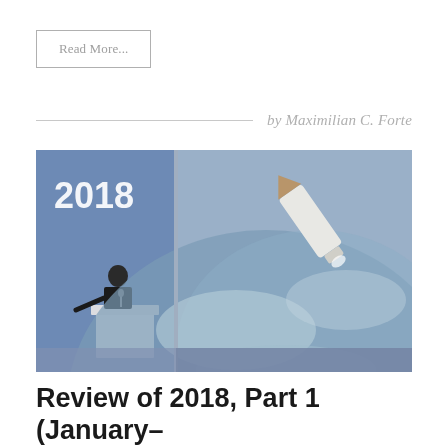Read More...
by Maximilian C. Forte
[Figure (photo): Photo of a man speaking at a podium in front of a large screen showing '2018' on the left panel and a missile in flight over Earth on the right panel.]
Review of 2018, Part 1 (January–March): Unloading the American